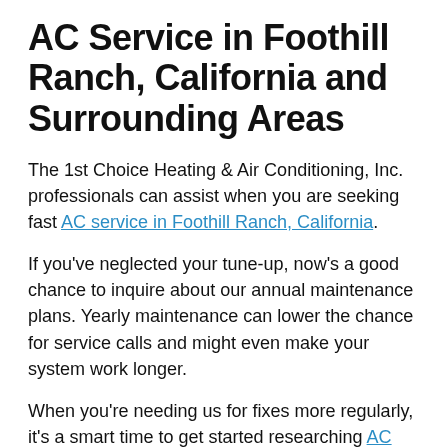AC Service in Foothill Ranch, California and Surrounding Areas
The 1st Choice Heating & Air Conditioning, Inc. professionals can assist when you are seeking fast AC service in Foothill Ranch, California.
If you've neglected your tune-up, now's a good chance to inquire about our annual maintenance plans. Yearly maintenance can lower the chance for service calls and might even make your system work longer.
When you're needing us for fixes more regularly, it's a smart time to get started researching AC installation. We'll work with you to help you pick the ideal system for your household.
Call us at 949-204-0859 or contact us online to request